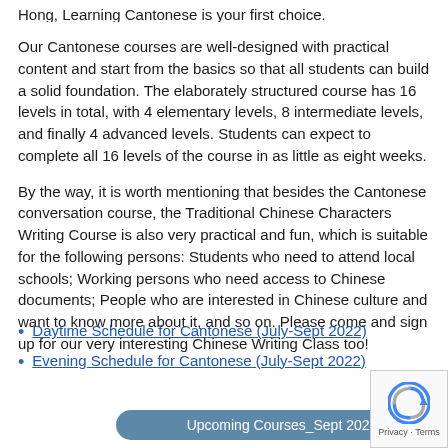Our Cantonese courses are well-designed with practical content and start from the basics so that all students can build a solid foundation. The elaborately structured course has 16 levels in total, with 4 elementary levels, 8 intermediate levels, and finally 4 advanced levels. Students can expect to complete all 16 levels of the course in as little as eight weeks.
By the way, it is worth mentioning that besides the Cantonese conversation course, the Traditional Chinese Characters Writing Course is also very practical and fun, which is suitable for the following persons: Students who need to attend local schools; Working persons who need access to Chinese documents; People who are interested in Chinese culture and want to know more about it, and so on. Please come and sign up for our very interesting Chinese Writing Class too!
Daytime Schedule for Cantonese (July-Sept 2022)
Evening Schedule for Cantonese (July-Sept 2022)
Upcoming Courses_Sept 2022